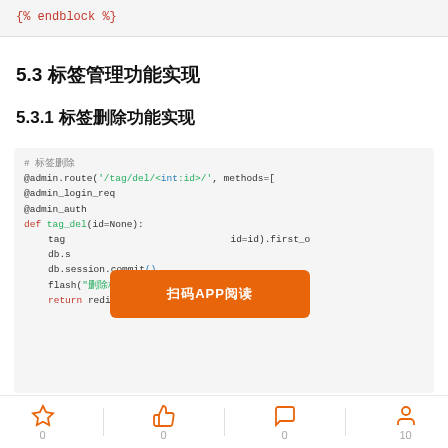{% endblock %}
5.3 标签管理功能实现
5.3.1 标签删除功能实现
# 标签删除
@admin.route('/tag/del/<int:id>/', methods=[
@admin_login_req
@admin_auth
def tag_del(id=None):
    tag                              .first_o
    db.s
    db.session.commit()
    flash("删除标签成功!", "ok")
    return redirect(url_for("admin.tag_list"
[Figure (other): Orange overlay button with text 扫码APP阅读]
0  0  0  10